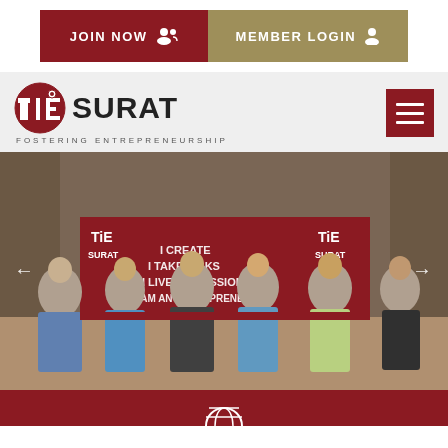[Figure (screenshot): JOIN NOW button with people icon in dark red, and MEMBER LOGIN button with user icon in tan/gold color]
[Figure (logo): TiE Surat logo with TiE circular logo mark and FOSTERING ENTREPRENEURSHIP tagline, with hamburger menu button on right]
[Figure (photo): Group photo of six men standing in front of TiE Surat branded backdrop with text I CREATE, I TAKE RISKS, I LIVE MY PASSION, I AM AN ENTREPRENEUR. Navigation arrows on left and right.]
[Figure (other): Dark red banner bar at bottom with globe icon]